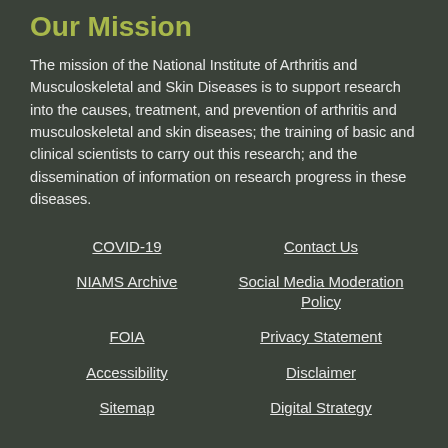Our Mission
The mission of the National Institute of Arthritis and Musculoskeletal and Skin Diseases is to support research into the causes, treatment, and prevention of arthritis and musculoskeletal and skin diseases; the training of basic and clinical scientists to carry out this research; and the dissemination of information on research progress in these diseases.
COVID-19
Contact Us
NIAMS Archive
Social Media Moderation Policy
FOIA
Privacy Statement
Accessibility
Disclaimer
Sitemap
Digital Strategy